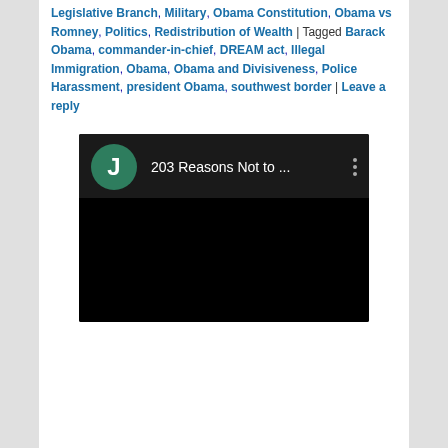Legislative Branch, Military, Obama Constitution, Obama vs Romney, Politics, Redistribution of Wealth | Tagged Barack Obama, commander-in-chief, DREAM act, Illegal Immigration, Obama, Obama and Divisiveness, Police Harassment, president Obama, southwest border | Leave a reply
[Figure (screenshot): Video thumbnail showing a dark/black player with a green circle avatar displaying the letter J and the title '203 Reasons Not to ...' with a three-dot menu icon]